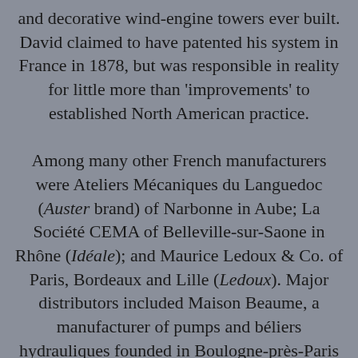and decorative wind-engine towers ever built. David claimed to have patented his system in France in 1878, but was responsible in reality for little more than 'improvements' to established North American practice.

Among many other French manufacturers were Ateliers Mécaniques du Languedoc (Auster brand) of Narbonne in Aube; La Société CEMA of Belleville-sur-Saone in Rhône (Idéale); and Maurice Ledoux & Co. of Paris, Bordeaux and Lille (Ledoux). Major distributors included Maison Beaume, a manufacturer of pumps and béliers hydrauliques founded in Boulogne-près-Paris in 1860, and Th. Pilter of Paris. Pilter, one of the largest agricultural-goods suppliers, had American-produced...